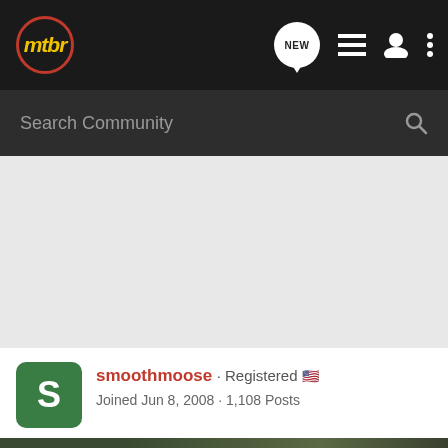[Figure (screenshot): MTBR mountain bike forum website header with dark navigation bar containing the mtbr logo, NEW message bubble icon, list icon, user icon, and three-dot menu icon]
Search Community
[Figure (screenshot): User profile card for smooththmoose showing green avatar with S, username in red, Registered status with US flag, joined Jun 8 2008, 1108 Posts]
smoothmoose · Registered 🇺🇸
Joined Jun 8, 2008 · 1,108 Posts
[Figure (photo): Chevrolet advertisement banner showing 2022 Silverado truck with text THE NEW 2022 SILVERADO. and Explore button and Chevrolet logo]
#15 · Ma